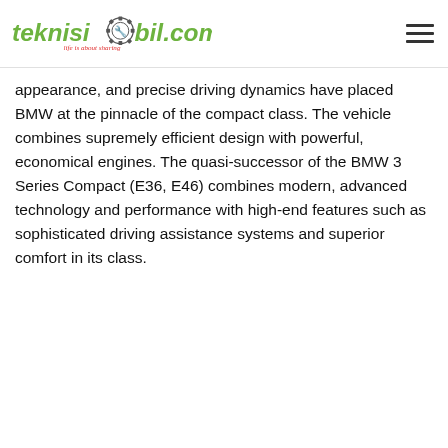teknisimobil.com – life is about sharing
appearance, and precise driving dynamics have placed BMW at the pinnacle of the compact class. The vehicle combines supremely efficient design with powerful, economical engines. The quasi-successor of the BMW 3 Series Compact (E36, E46) combines modern, advanced technology and performance with high-end features such as sophisticated driving assistance systems and superior comfort in its class.